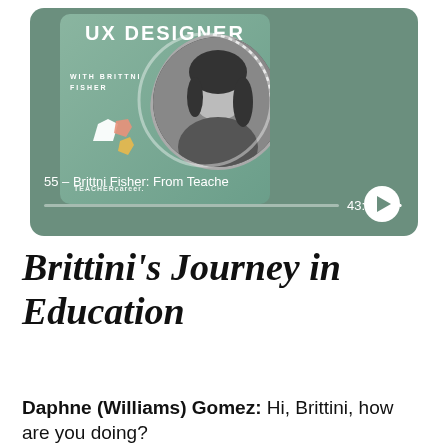[Figure (screenshot): Podcast player card showing 'UX Designer with Brittni Fisher' podcast artwork on a sage green background. Episode title: '55 - Brittni Fisher: From Teache' with timestamp 43:34 and a play button.]
Brittni's Journey in Education
Daphne (Williams) Gomez: Hi, Brittini, how are you doing?